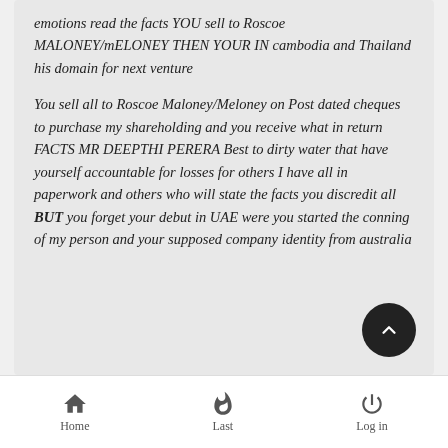emotions read the facts YOU sell to Roscoe MALONEY/mELONEY THEN YOUR IN cambodia and Thailand his domain for next venture
You sell all to Roscoe Maloney/Meloney on Post dated cheques to purchase my shareholding and you receive what in return FACTS MR DEEPTHI PERERA Best to dirty water that have yourself accountable for losses for others I have all in paperwork and others who will state the facts you discredit all BUT you forget your debut in UAE were you started the conning of my person and your supposed company identity from australia
Home  Last  Log in